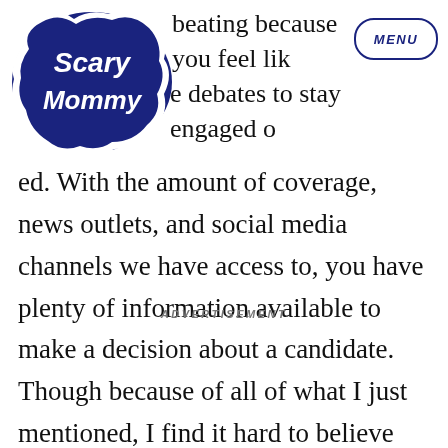Scary Mommy [logo] MENU
health beating because you feel lik e debates to stay engaged o ed. With the amount of coverage, news outlets, and social media channels we have access to, you have plenty of information available to make a decision about a candidate. Though because of all of what I just mentioned, I find it hard to believe that anyone can be undecided at this point.
ADVERTISEMENT